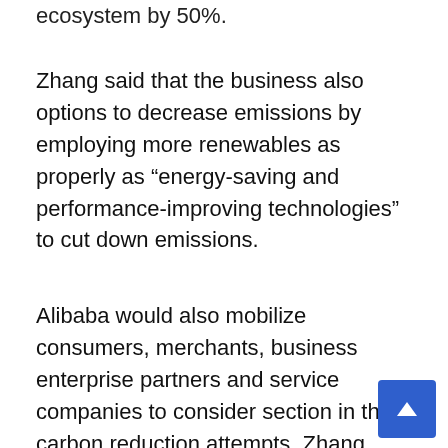ecosystem by 50%.
Zhang said that the business also options to decrease emissions by employing more renewables as properly as “energy-saving and performance-improving technologies” to cut down emissions.
Alibaba would also mobilize consumers, merchants, business enterprise partners and service companies to consider section in their carbon reduction attempts. Zhang named illustrations such as advertising the consumption of green merchandise, inexperienced transportation solutions and encouraging the reuse and resale of pre-owned items.
Alibaba’s pledge to lowering its carbon footprint